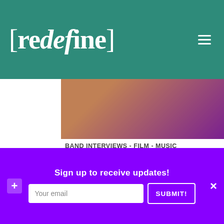[redefine]
[Figure (photo): Partial photo of a person against a purple background, cropped to show shoulder/back area]
BAND INTERVIEWS - FILM - MUSIC - MUSIC FEATURES
Terence Nance Interview: The Terence Etc. Album VORTEX is a Multidimensional Spiral
Vee Hua 華 - Add comment
Sign up to receive updates!
Your email
SUBMIT!